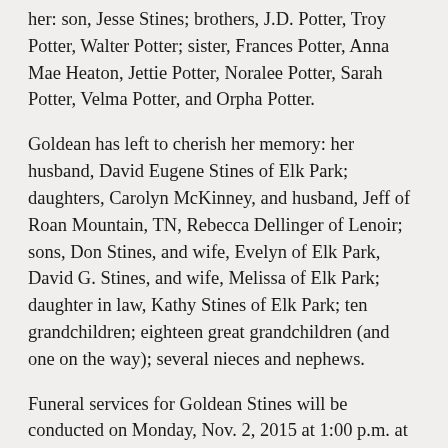her: son, Jesse Stines; brothers, J.D. Potter, Troy Potter, Walter Potter; sister, Frances Potter, Anna Mae Heaton, Jettie Potter, Noralee Potter, Sarah Potter, Velma Potter, and Orpha Potter.
Goldean has left to cherish her memory: her husband, David Eugene Stines of Elk Park; daughters, Carolyn McKinney, and husband, Jeff of Roan Mountain, TN, Rebecca Dellinger of Lenoir; sons, Don Stines, and wife, Evelyn of Elk Park, David G. Stines, and wife, Melissa of Elk Park; daughter in law, Kathy Stines of Elk Park; ten grandchildren; eighteen great grandchildren (and one on the way); several nieces and nephews.
Funeral services for Goldean Stines will be conducted on Monday, Nov. 2, 2015 at 1:00 p.m. at the Blue Ridge Mountain Church with Bro. Harold Mash officiating. Interment will follow in the church cemetery. The family will receive friends from 11:00 am until the service hour, Monday